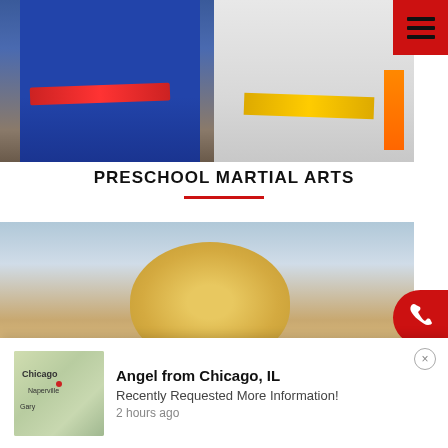[Figure (photo): Two martial arts practitioners. Left person in blue gi with red belt, right person in white gi with orange stripe and yellow belt. Gym equipment visible in background.]
PRESCHOOL MARTIAL ARTS
[Figure (photo): Close-up of a young child with blonde hair, photographed from above/behind, against a light blue background.]
Angel from Chicago, IL
Recently Requested More Information!
2 hours ago